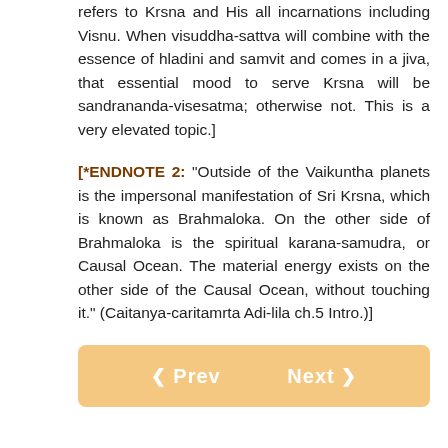refers to Krsna and His all incarnations including Visnu. When visuddha-sattva will combine with the essence of hladini and samvit and comes in a jiva, that essential mood to serve Krsna will be sandrananda-visesatma; otherwise not. This is a very elevated topic.]
[*ENDNOTE 2: "Outside of the Vaikuntha planets is the impersonal manifestation of Sri Krsna, which is known as Brahmaloka. On the other side of Brahmaloka is the spiritual karana-samudra, or Causal Ocean. The material energy exists on the other side of the Causal Ocean, without touching it." (Caitanya-caritamrta Adi-lila ch.5 Intro.)]